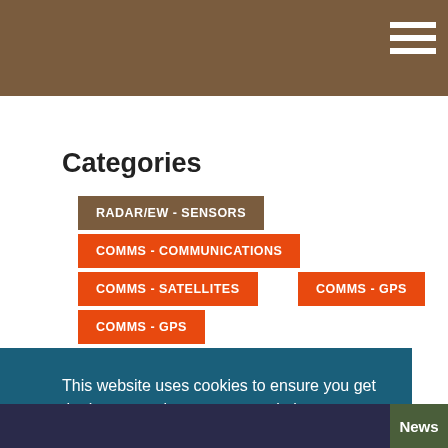Categories
RADAR/EW - SENSORS
COMMS - COMMUNICATIONS
COMMS - SATELLITES
COMMS - GPS
COMMS - GPS
This website uses cookies to ensure you get the best experience on our website.
Learn More
Got it!